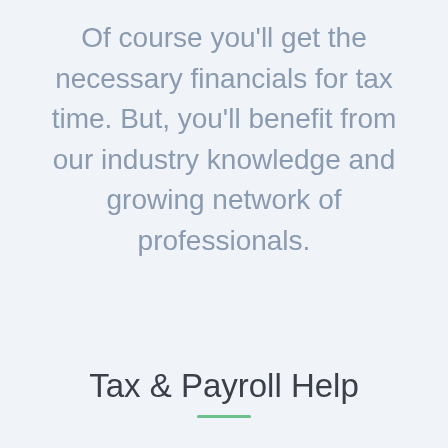Of course you'll get the necessary financials for tax time. But, you'll benefit from our industry knowledge and growing network of professionals.
Tax & Payroll Help